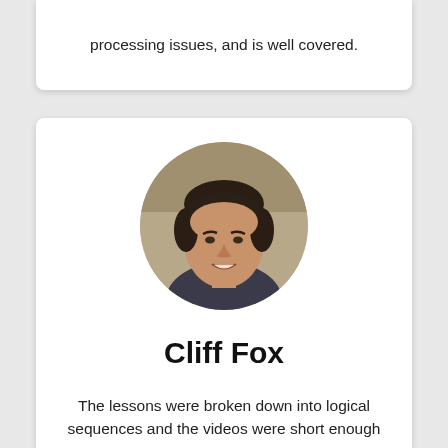processing issues, and is well covered.
[Figure (photo): Circular profile photo of a smiling young man with dark hair, wearing a dark shirt, against a blurred outdoor background.]
Cliff Fox
The lessons were broken down into logical sequences and the videos were short enough to absorb information without getting